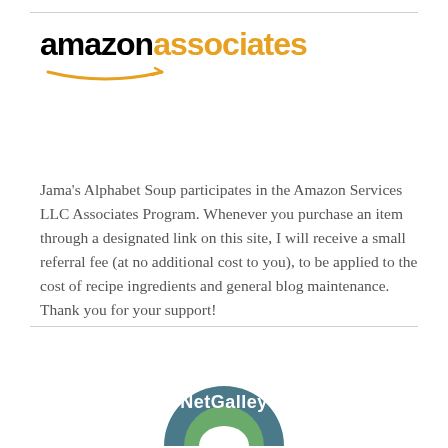[Figure (logo): Amazon Associates logo with 'amazon' in black bold and 'associates' in orange bold, with an orange arrow swoosh beneath]
Jama's Alphabet Soup participates in the Amazon Services LLC Associates Program. Whenever you purchase an item through a designated link on this site, I will receive a small referral fee (at no additional cost to you), to be applied to the cost of recipe ingredients and general blog maintenance. Thank you for your support!
[Figure (logo): NetGalley circular badge/logo partially visible at bottom of page]